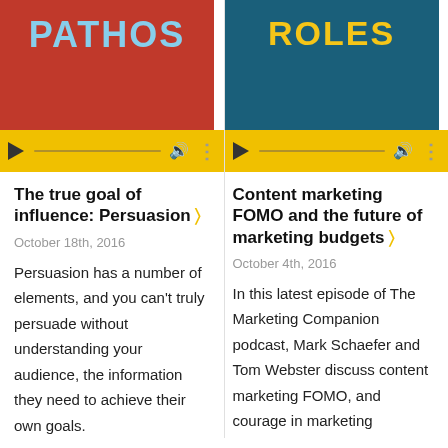[Figure (screenshot): Podcast cover for 'PATHOS' with red background and blue stylized text, with yellow audio player bar below]
[Figure (screenshot): Podcast cover for 'ROLES' (partial, showing bottom) with dark teal background and yellow stylized text, with yellow audio player bar below]
The true goal of influence: Persuasion >
October 18th, 2016
Persuasion has a number of elements, and you can't truly persuade without understanding your audience, the information they need to achieve their own goals.
Content marketing FOMO and the future of marketing budgets >
October 4th, 2016
In this latest episode of The Marketing Companion podcast, Mark Schaefer and Tom Webster discuss content marketing FOMO, and courage in marketing